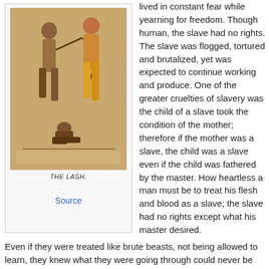[Figure (illustration): Historical illustration titled 'THE LASH.' showing a scene of slavery with a person being whipped.]
THE LASH.
Source
lived in constant fear while yearning for freedom. Though human, the slave had no rights. The slave was flogged, tortured and brutalized, yet was expected to continue working and produce. One of the greater cruelties of slavery was the child of a slave took the condition of the mother; therefore if the mother was a slave, the child was a slave even if the child was fathered by the master. How heartless a man must be to treat his flesh and blood as a slave; the slave had no rights except what his master desired.
Even if they were treated like brute beasts, not being allowed to learn, they knew what they were going through could never be right. Mothers murdered their children so that they wouldn't know the horrors of slavery. Many ran away; some succeeded and some did not. A slave knew that there was no worse fate for a slave than one who ran away but was caught. By one account his brutal life and his...